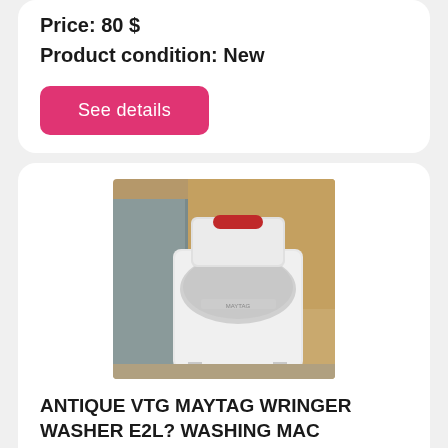Price: 80 $
Product condition: New
See details
[Figure (photo): Antique Maytag wringer washer, white with chrome trim and a red handle on the wringer mechanism, displayed indoors against cardboard boxes]
ANTIQUE VTG MAYTAG WRINGER WASHER E2L? WASHING MAC
Antique vtg maytag wringer washer e2l? washing. This is the gyratator washer made